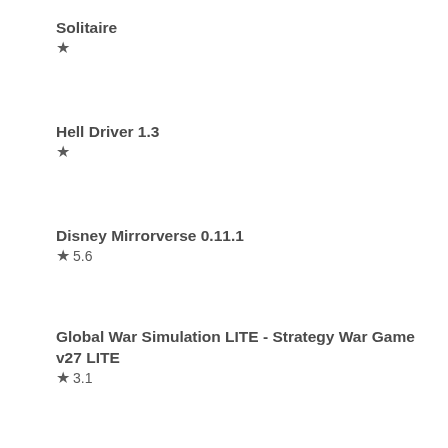Solitaire
★
Hell Driver 1.3
★
Disney Mirrorverse 0.11.1
★ 5.6
Global War Simulation LITE - Strategy War Game v27 LITE
★ 3.1
Hidden my snacks by mom 5 1.0
★ 4.6